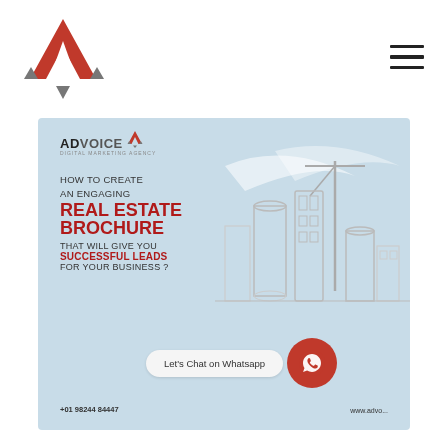[Figure (logo): AdVoice Digital Marketing Agency logo — red and grey triangular arrow mark with company name]
[Figure (illustration): Navigation hamburger menu icon — three horizontal lines]
[Figure (infographic): AdVoice advertising brochure banner on light blue background. Shows 'ADVOICE Digital Marketing Agency' logo, text 'HOW TO CREATE AN ENGAGING REAL ESTATE BROCHURE THAT WILL GIVE YOU SUCCESSFUL LEADS FOR YOUR BUSINESS?', city skyline illustration, phone number +01 98244 84447, website www.advo..., and a WhatsApp chat button at the bottom saying 'Let's Chat on Whatsapp'.]